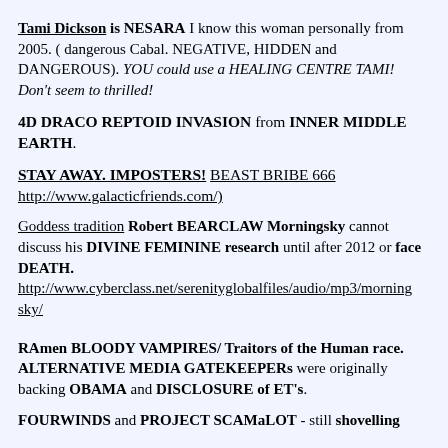Tami Dickson is NESARA I know this woman personally from 2005. ( dangerous Cabal. NEGATIVE, HIDDEN and DANGEROUS). YOU could use a HEALING CENTRE TAMI! Don't seem to thrilled!
4D DRACO REPTOID INVASION from INNER MIDDLE EARTH.
STAY AWAY. IMPOSTERS! BEAST BRIBE 666 http://www.galacticfriends.com/)
Goddess tradition Robert BEARCLAW Morningsky cannot discuss his DIVINE FEMININE research until after 2012 or face DEATH. http://www.cyberclass.net/serenityglobalfiles/audio/mp3/morning sky/
RAmen BLOODY VAMPIRES/ Traitors of the Human race. ALTERNATIVE MEDIA GATEKEEPERs were originally backing OBAMA and DISCLOSURE of ET's.
FOURWINDS and PROJECT SCAMaLOT - still shovelling